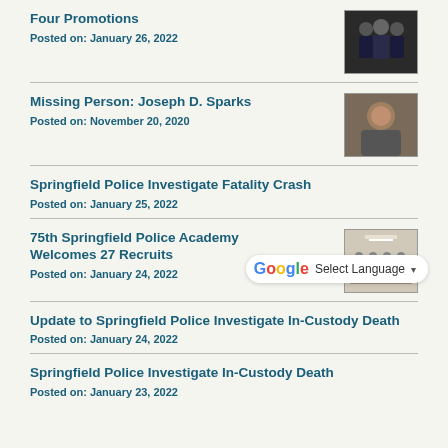Four Promotions
Posted on: January 26, 2022
[Figure (photo): Three police officers standing together in uniform]
Missing Person: Joseph D. Sparks
Posted on: November 20, 2020
[Figure (photo): Headshot photo of missing person Joseph D. Sparks]
Springfield Police Investigate Fatality Crash
Posted on: January 25, 2022
75th Springfield Police Academy Welcomes 27 Recruits
Posted on: January 24, 2022
[Figure (photo): Classroom with recruits seated at tables during academy session]
Update to Springfield Police Investigate In-Custody Death
Posted on: January 24, 2022
Springfield Police Investigate In-Custody Death
Posted on: January 23, 2022